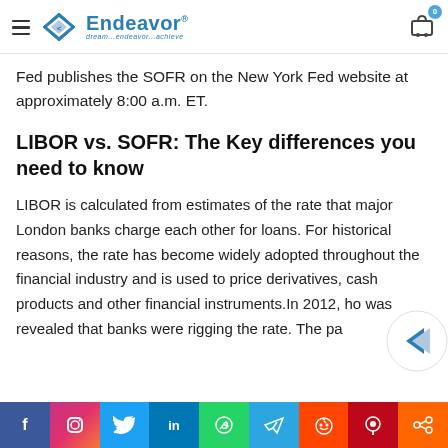Endeavor — dream...endeavor...achieve
Fed publishes the SOFR on the New York Fed website at approximately 8:00 a.m. ET.
LIBOR vs. SOFR: The Key differences you need to know
LIBOR is calculated from estimates of the rate that major London banks charge each other for loans. For historical reasons, the rate has become widely adopted throughout the financial industry and is used to price derivatives, cash products and other financial instruments.In 2012, ho was revealed that banks were rigging the rate. The pa
Facebook Instagram Twitter LinkedIn WhatsApp Telegram Reddit Pinterest Share